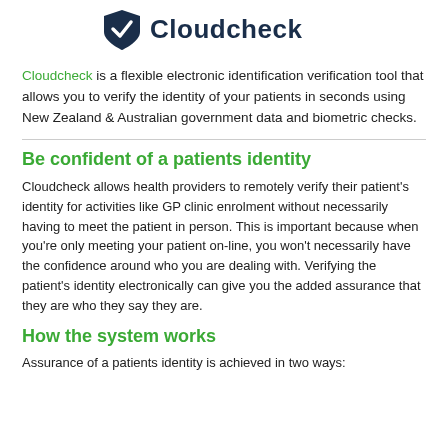[Figure (logo): Cloudcheck logo with green shield/checkmark icon and dark navy text 'Cloudcheck']
Cloudcheck is a flexible electronic identification verification tool that allows you to verify the identity of your patients in seconds using New Zealand & Australian government data and biometric checks.
Be confident of a patients identity
Cloudcheck allows health providers to remotely verify their patient's identity for activities like GP clinic enrolment without necessarily having to meet the patient in person. This is important because when you're only meeting your patient on-line, you won't necessarily have the confidence around who you are dealing with. Verifying the patient's identity electronically can give you the added assurance that they are who they say they are.
How the system works
Assurance of a patients identity is achieved in two ways: